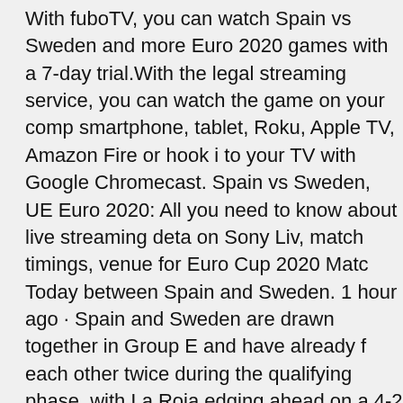With fuboTV, you can watch Spain vs Sweden and more Euro 2020 games with a 7-day trial.With the legal streaming service, you can watch the game on your computer, smartphone, tablet, Roku, Apple TV, Amazon Fire or hook it to your TV with Google Chromecast. Spain vs Sweden, UEFA Euro 2020: All you need to know about live streaming details on Sony Liv, match timings, venue for Euro Cup 2020 Match Today between Spain and Sweden. 1 hour ago · Spain and Sweden are drawn together in Group E and have already faced each other twice during the qualifying phase, with La Roja edging ahead on a 4-2 aggregate over two legs.
3 CHE Chelsea. 4 LEI Leicester City. 5 WHU West Ham United — espn uk (@espnuk) may 5, 2021 Kante hadn't even played top-flight football until he was 23 and now, at the age of 30, he's won a World Cup, the Europa League, two Premier League titles, two FA Cups, and is just one step away from adding